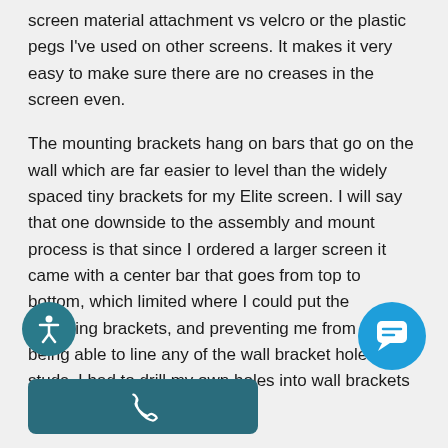screen material attachment vs velcro or the plastic pegs I've used on other screens. It makes it very easy to make sure there are no creases in the screen even.
The mounting brackets hang on bars that go on the wall which are far easier to level than the widely spaced tiny brackets for my Elite screen. I will say that one downside to the assembly and mount process is that since I ordered a larger screen it came with a center bar that goes from top to bottom, which limited where I could put the mounting brackets, and preventing me from actually being able to line any of the wall bracket holes into studs. I had to drill my own holes into wall brackets and was able to secure into
[Figure (other): Accessibility icon button (circle with person symbol) and chat icon button (circle with speech bubble)]
[Figure (other): Phone call button bar (teal rounded rectangle with phone handset icon)]